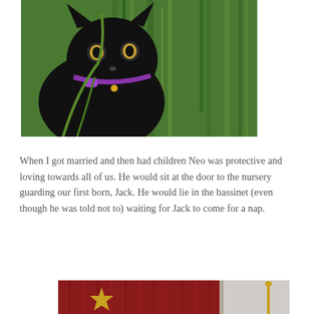[Figure (photo): A black cat with a purple collar sitting in tall green grass, looking up at the camera]
When I got married and then had children Neo was protective and loving towards all of us. He would sit at the door to the nursery guarding our first born, Jack. He would lie in the bassinet (even though he was told not to) waiting for Jack to come for a nap.
[Figure (photo): Partial view of a dark red curtain or fabric with a gold starfish decoration and what appears to be a window or door frame]